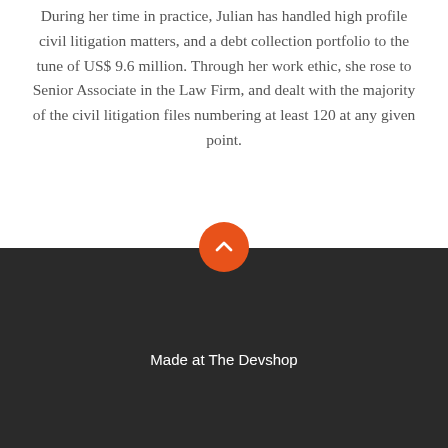During her time in practice, Julian has handled high profile civil litigation matters, and a debt collection portfolio to the tune of US$ 9.6 million. Through her work ethic, she rose to Senior Associate in the Law Firm, and dealt with the majority of the civil litigation files numbering at least 120 at any given point.
[Figure (other): Orange circular scroll-to-top button with a white chevron/arrow pointing upward]
Made at The Devshop